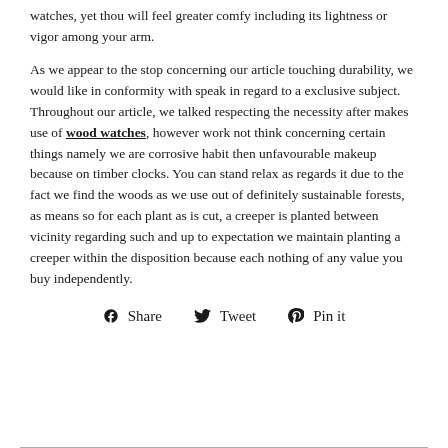watches, yet thou will feel greater comfy including its lightness or vigor among your arm.
As we appear to the stop concerning our article touching durability, we would like in conformity with speak in regard to a exclusive subject. Throughout our article, we talked respecting the necessity after makes use of wood watches, however work not think concerning certain things namely we are corrosive habit then unfavourable makeup because on timber clocks. You can stand relax as regards it due to the fact we find the woods as we use out of definitely sustainable forests, as means so for each plant as is cut, a creeper is planted between vicinity regarding such and up to expectation we maintain planting a creeper within the disposition because each nothing of any value you buy independently.
Share   Tweet   Pin it